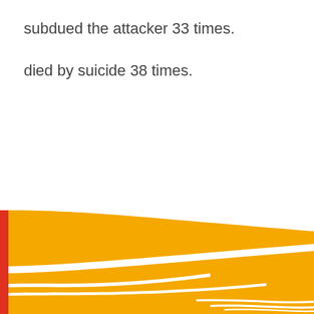subdued the attacker 33 times.
died by suicide 38 times.
[Figure (other): Partial view of a Sankey/flow diagram showing large golden/yellow flowing bands representing data flows. A thin red vertical bar is visible on the left edge. The bands fan out and narrow toward the right side of the image, with white gaps separating the smaller streams at the bottom right.]